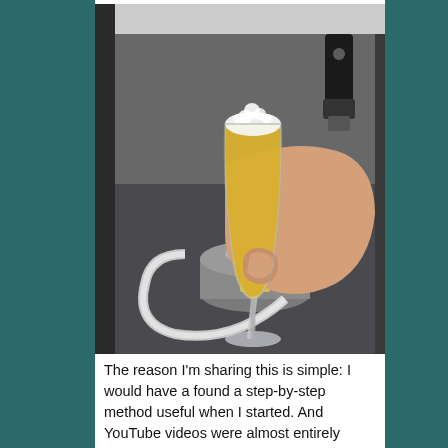[Figure (photo): A hand holding a champagne flute filled with golden beer and a white foam head, in front of a homebrewing setup. A keg and plastic tubing are visible in a cooler in the background. A beer tap handle is visible in the upper right.]
The reason I'm sharing this is simple: I would have a found a step-by-step method useful when I started. And YouTube videos were almost entirely